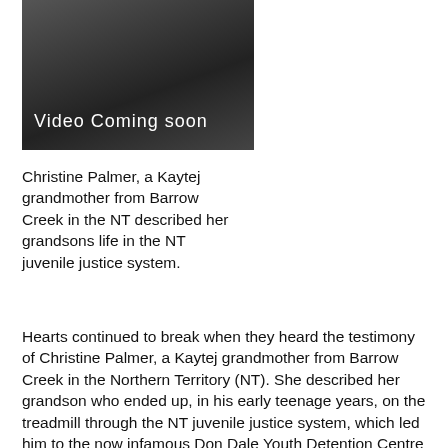[Figure (photo): Dark thumbnail image of a person, overlaid with white text 'Video Coming soon']
Christine Palmer, a Kaytej grandmother from Barrow Creek in the NT described her grandsons life in the NT juvenile justice system.
Hearts continued to break when they heard the testimony of Christine Palmer, a Kaytej grandmother from Barrow Creek in the Northern Territory (NT). She described her grandson who ended up, in his early teenage years, on the treadmill through the NT juvenile justice system, which led him to the now infamous Don Dale Youth Detention Centre in Darwin, where he was terrorised and stripped of human dignity along with Dylan Voller and other juveniles. She described how he told her of the story of being put in isolation cells with wet concrete floors, wet mattresses, damp bed clothes with the air conditioning turned on. Her grandson said this happened on many occasions. She said he also described how they put him, as a 14-year-old boy, in the adult male prison for six days. When she confronted departmental authorities as to why this was the case, their explanation was that it was an exercise to try